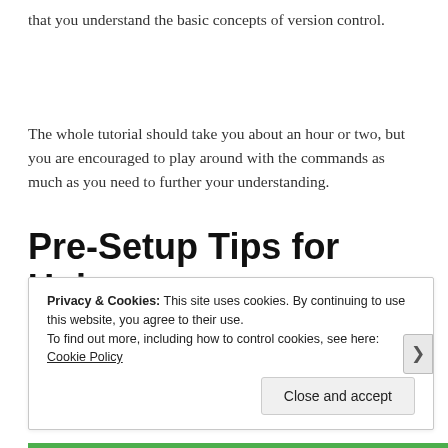that you understand the basic concepts of version control.
The whole tutorial should take you about an hour or two, but you are encouraged to play around with the commands as much as you need to further your understanding.
Pre-Setup Tips for Unix
Privacy & Cookies: This site uses cookies. By continuing to use this website, you agree to their use.
To find out more, including how to control cookies, see here: Cookie Policy
Close and accept